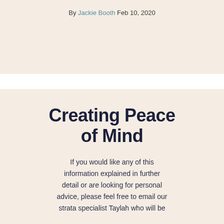By Jackie Booth Feb 10, 2020
Creating Peace of Mind
If you would like any of this information explained in further detail or are looking for personal advice, please feel free to email our strata specialist Taylah who will be